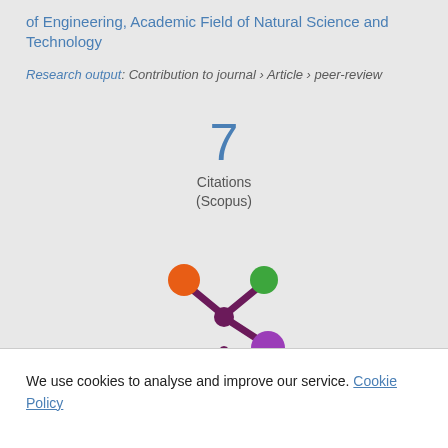of Engineering, Academic Field of Natural Science and Technology
Research output: Contribution to journal › Article › peer-review
7 Citations (Scopus)
[Figure (logo): Altmetric logo — a colorful snowflake-like symbol with orange, green, and purple circles on dark purple branches]
We use cookies to analyse and improve our service. Cookie Policy